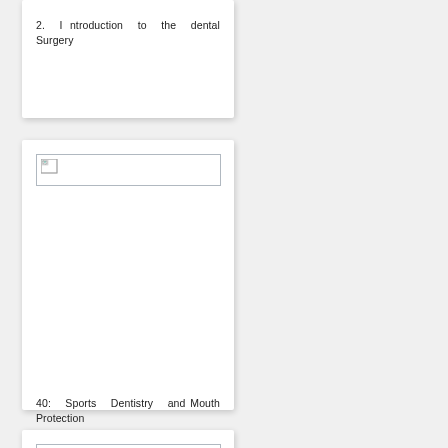2.  I ntroduction  to  the  dental Surgery
[Figure (other): Broken image placeholder in card]
40:  Sports  Dentistry  and Mouth Protection
[Figure (other): Broken image placeholder in third card]